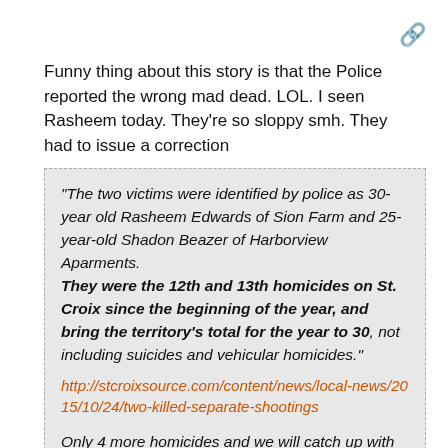Funny thing about this story is that the Police reported the wrong mad dead. LOL. I seen Rasheem today. They're so sloppy smh. They had to issue a correction
"The two victims were identified by police as 30-year old Rasheem Edwards of Sion Farm and 25-year-old Shadon Beazer of Harborview Aparments. They were the 12th and 13th homicides on St. Croix since the beginning of the year, and bring the territory's total for the year to 30, not including suicides and vehicular homicides." http://stcroixsource.com/content/news/local-news/2015/10/24/two-killed-separate-shootings

Only 4 more homicides and we will catch up with St Thomas.